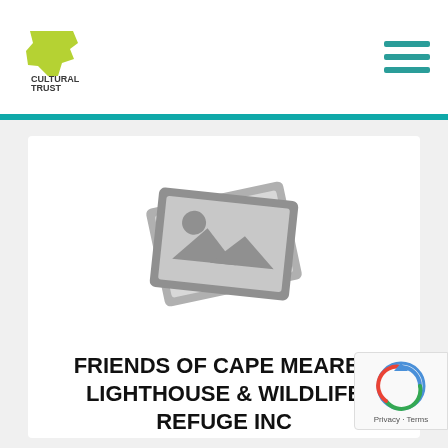[Figure (logo): Oregon Cultural Trust logo — green state shape with 'CULTURAL TRUST' text]
[Figure (illustration): Generic image placeholder icon (two overlapping photo frames with mountain/sun icon in grey)]
FRIENDS OF CAPE MEARES LIGHTHOUSE & WILDLIFE REFUGE INC